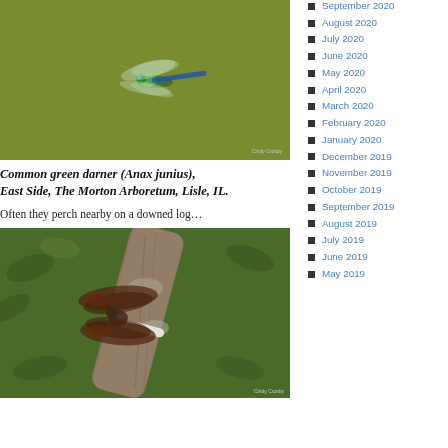[Figure (photo): Common green darner dragonfly in flight against olive-green background, with photo credit 'Cindy Crosby' in bottom right]
Common green darner (Anax junius), East Side, The Morton Arboretum, Lisle, IL.
Often they perch nearby on a downed log…
[Figure (photo): Dragonfly perched on a branch among green foliage, with photo credit 'Cindy Crosby' in bottom right]
September 2020
August 2020
July 2020
June 2020
May 2020
April 2020
March 2020
February 2020
January 2020
December 2019
November 2019
October 2019
September 2019
August 2019
July 2019
June 2019
May 2019